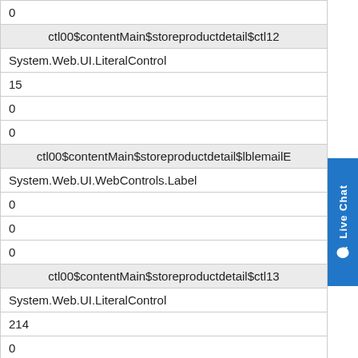| 0 |
| ctl00$contentMain$storeproductdetail$ctl12 |
| System.Web.UI.LiteralControl |
| 15 |
| 0 |
| 0 |
| ctl00$contentMain$storeproductdetail$lblemailE |
| System.Web.UI.WebControls.Label |
| 0 |
| 0 |
| 0 |
| ctl00$contentMain$storeproductdetail$ctl13 |
| System.Web.UI.LiteralControl |
| 214 |
| 0 |